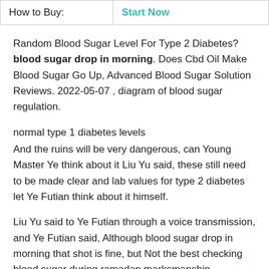| How to Buy: | Start Now |
Random Blood Sugar Level For Type 2 Diabetes? blood sugar drop in morning. Does Cbd Oil Make Blood Sugar Go Up, Advanced Blood Sugar Solution Reviews. 2022-05-07 , diagram of blood sugar regulation.
normal type 1 diabetes levels
And the ruins will be very dangerous, can Young Master Ye think about it Liu Yu said, these still need to be made clear and lab values for type 2 diabetes let Ye Futian think about it himself.
Liu Yu said to Ye Futian through a voice transmission, and Ye Futian said, Although blood sugar drop in morning that shot is fine, but Not the best checking blood sugar during ramadan marksmanship.